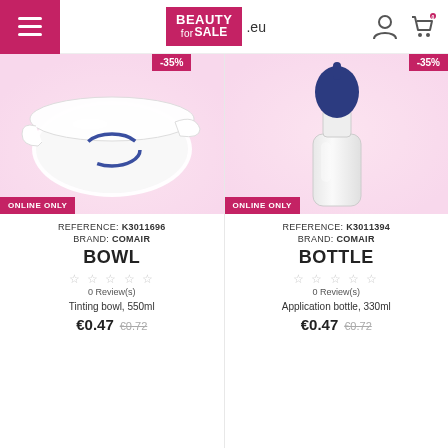BEAUTY forSALE .eu
[Figure (photo): White tinting bowl with blue handle ring, on pink gradient background. ONLINE ONLY badge. -35% discount label.]
REFERENCE: K3011696
BRAND: COMAIR
BOWL
0 Review(s)
Tinting bowl, 550ml
€0.47  €0.72
[Figure (photo): White application bottle with dark blue bulb top, on pink gradient background. ONLINE ONLY badge. -35% discount label.]
REFERENCE: K3011394
BRAND: COMAIR
BOTTLE
0 Review(s)
Application bottle, 330ml
€0.47  €0.72